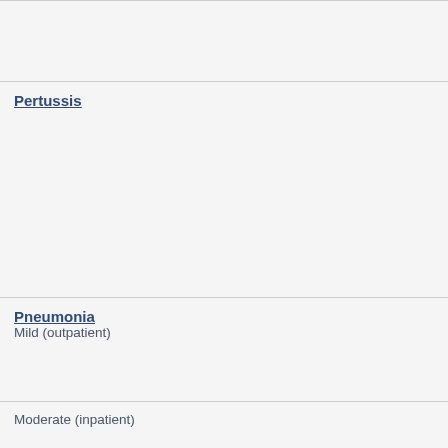Pertussis
Pneumonia
Mild (outpatient)
Moderate (inpatient)
Severe (≥2 of: severe respiratory distress, severe hypoxaemia or cyano…